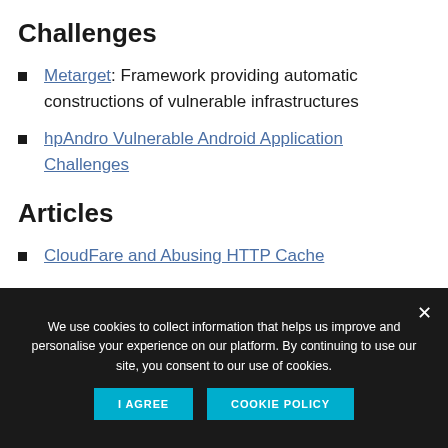Challenges
Metarget: Framework providing automatic constructions of vulnerable infrastructures
hpAndro Vulnerable Android Application Challenges
Articles
CloudFare and Abusing HTTP Cache
We use cookies to collect information that helps us improve and personalise your experience on our platform. By continuing to use our site, you consent to our use of cookies.